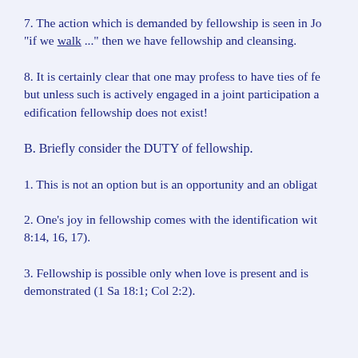7. The action which is demanded by fellowship is seen in Jo... "if we walk ..." then we have fellowship and cleansing.
8. It is certainly clear that one may profess to have ties of f... but unless such is actively engaged in a joint participation a... edification fellowship does not exist!
B. Briefly consider the DUTY of fellowship.
1. This is not an option but is an opportunity and an obligat...
2. One's joy in fellowship comes with the identification wit... 8:14, 16, 17).
3. Fellowship is possible only when love is present and is demonstrated (1 Sa 18:1; Col 2:2).